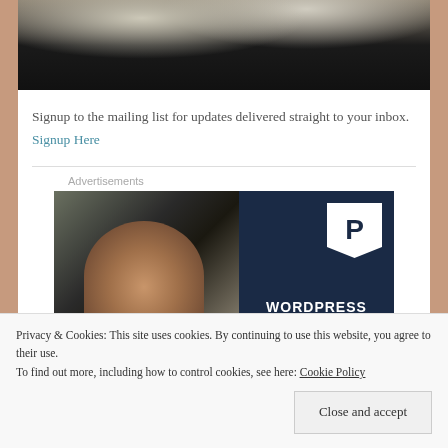[Figure (photo): Top portion of a photograph showing flowers and dark background, partially cropped]
Signup to the mailing list for updates delivered straight to your inbox. Signup Here
[Figure (photo): Advertisement image with left side showing a smiling woman and right side showing a dark navy background with WordPress logo (P in a pennant shape) and the text WORDPRESS]
Privacy & Cookies: This site uses cookies. By continuing to use this website, you agree to their use.
To find out more, including how to control cookies, see here: Cookie Policy